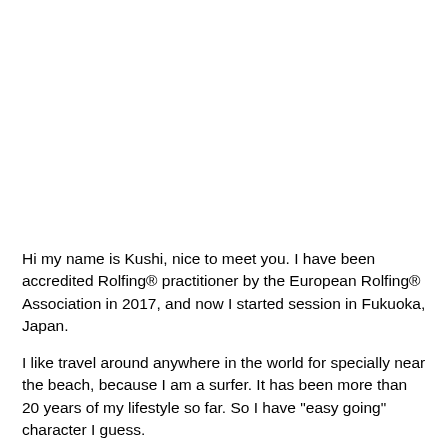Hi my name is Kushi, nice to meet you. I have been accredited Rolfing® practitioner by the European Rolfing® Association in 2017, and now I started session in Fukuoka, Japan.
I like travel around anywhere in the world for specially near the beach, because I am a surfer. It has been more than 20 years of my lifestyle so far. So I have "easy going" character I guess.
Past my lifestyle, I have met a lot of people over the world, then learn to different language, cultural and style of life it became excellent experience of my life as well.
The surf is one of my passions, it feels a kind of art to me. Because the